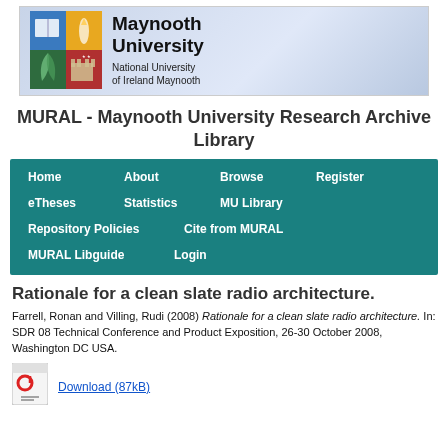[Figure (logo): Maynooth University logo with shield and university name]
MURAL - Maynooth University Research Archive Library
Home   About   Browse   Register   eTheses   Statistics   MU Library   Repository Policies   Cite from MURAL   MURAL Libguide   Login
Rationale for a clean slate radio architecture.
Farrell, Ronan and Villing, Rudi (2008) Rationale for a clean slate radio architecture. In: SDR 08 Technical Conference and Product Exposition, 26-30 October 2008, Washington DC USA.
[Figure (other): PDF document icon]
Download (87kB)